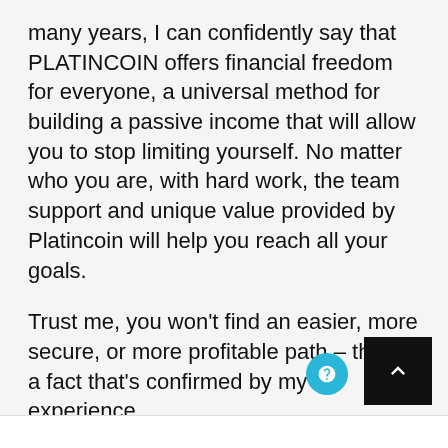many years, I can confidently say that PLATINCOIN offers financial freedom for everyone, a universal method for building a passive income that will allow you to stop limiting yourself. No matter who you are, with hard work, the team support and unique value provided by Platincoin will help you reach all your goals.
Trust me, you won't find an easier, more secure, or more profitable path – this is a fact that's confirmed by my experience.